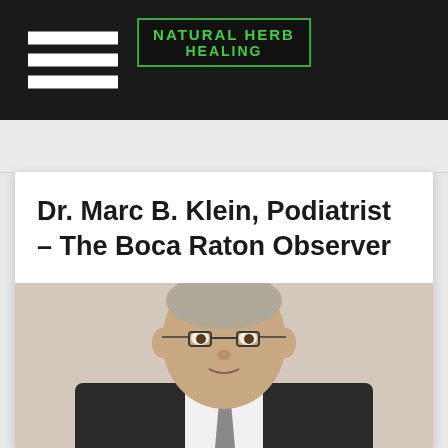NATURAL HERB HEALING
Dr. Marc B. Klein, Podiatrist – The Boca Raton Observer
[Figure (photo): Professional headshot of Dr. Marc B. Klein, an older man wearing glasses and a dark pinstripe suit with a tie, photographed against a white background]